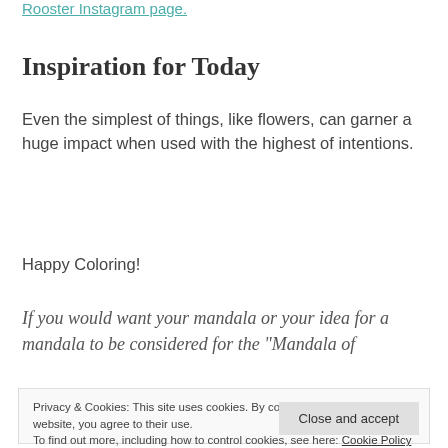Rooster Instagram page.
Inspiration for Today
Even the simplest of things, like flowers, can garner a huge impact when used with the highest of intentions.
Happy Coloring!
If you would want your mandala or your idea for a mandala to be considered for the “Mandala of
Privacy & Cookies: This site uses cookies. By continuing to use this website, you agree to their use. To find out more, including how to control cookies, see here: Cookie Policy
Close and accept